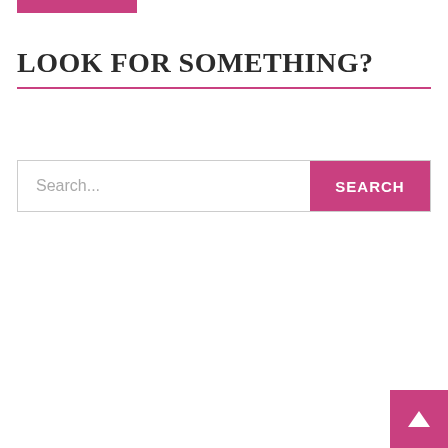[Figure (other): Pink/magenta horizontal bar at top of page]
LOOK FOR SOMETHING?
[Figure (other): Search input field with placeholder text 'Search...' and a pink SEARCH button on the right]
[Figure (other): Pink back-to-top button with upward arrow in bottom-right corner]